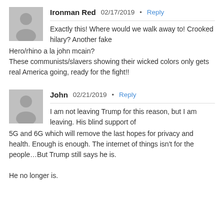Ironman Red   02/17/2019 · Reply
Exactly this! Where would we walk away to! Crooked hilary? Another fake Hero/rhino a la john mcain?
These communists/slavers showing their wicked colors only gets real America going, ready for the fight!!
John   02/21/2019 · Reply
I am not leaving Trump for this reason, but I am leaving. His blind support of 5G and 6G which will remove the last hopes for privacy and health. Enough is enough. The internet of things isn't for the people…But Trump still says he is.

He no longer is.